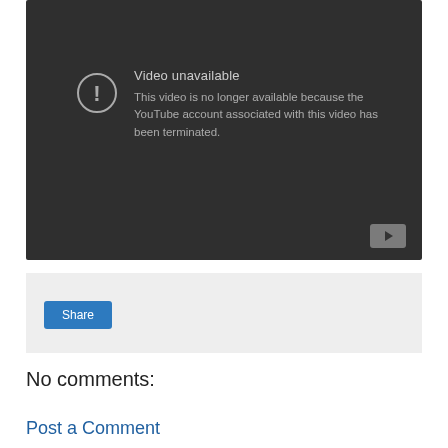[Figure (screenshot): YouTube video unavailable error screen with dark background. Shows a warning icon (circle with exclamation mark), title 'Video unavailable', and message 'This video is no longer available because the YouTube account associated with this video has been terminated.' A YouTube play button icon is shown in the bottom-right corner of the video player.]
Share
No comments:
Post a Comment